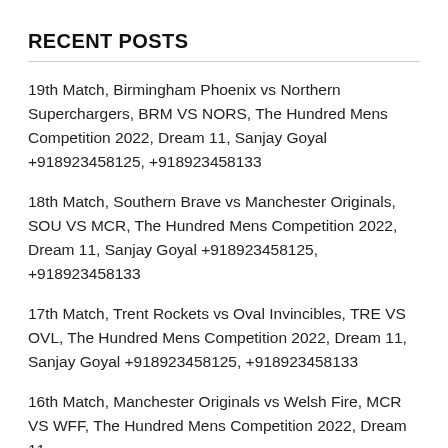RECENT POSTS
19th Match, Birmingham Phoenix vs Northern Superchargers, BRM VS NORS, The Hundred Mens Competition 2022, Dream 11, Sanjay Goyal +918923458125, +918923458133
18th Match, Southern Brave vs Manchester Originals, SOU VS MCR, The Hundred Mens Competition 2022, Dream 11, Sanjay Goyal +918923458125, +918923458133
17th Match, Trent Rockets vs Oval Invincibles, TRE VS OVL, The Hundred Mens Competition 2022, Dream 11, Sanjay Goyal +918923458125, +918923458133
16th Match, Manchester Originals vs Welsh Fire, MCR VS WFF, The Hundred Mens Competition 2022, Dream 11